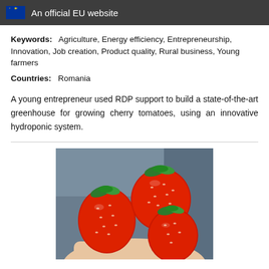An official EU website
Keywords: Agriculture, Energy efficiency, Entrepreneurship, Innovation, Job creation, Product quality, Rural business, Young farmers
Countries: Romania
A young entrepreneur used RDP support to build a state-of-the-art greenhouse for growing cherry tomatoes, using an innovative hydroponic system.
[Figure (photo): A hand holding several large red strawberries with green stems against a blurred background.]